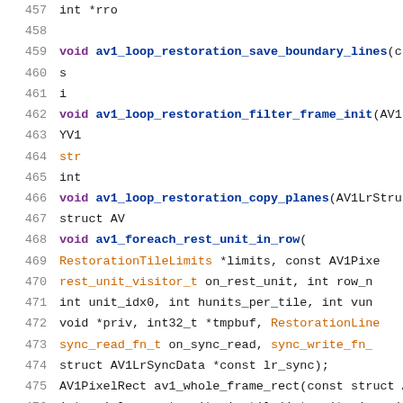[Figure (screenshot): Source code listing showing C function declarations related to AV1 loop restoration, lines 457-478. Functions include av1_loop_restoration_save_boundary_lines, av1_loop_restoration_filter_frame_init, av1_loop_restoration_copy_planes, av1_foreach_rest_unit_in_row, av1_whole_frame_rect, av1_lr_count_units_in_tile, av1_lr_sync_read_dummy, av1_lr_sync_write_dummy with line numbers on left in gray and syntax highlighting in purple/blue/orange.]